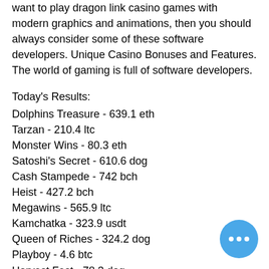want to play dragon link casino games with modern graphics and animations, then you should always consider some of these software developers. Unique Casino Bonuses and Features. The world of gaming is full of software developers.
Today's Results:
Dolphins Treasure - 639.1 eth
Tarzan - 210.4 ltc
Monster Wins - 80.3 eth
Satoshi's Secret - 610.6 dog
Cash Stampede - 742 bch
Heist - 427.2 bch
Megawins - 565.9 ltc
Kamchatka - 323.9 usdt
Queen of Riches - 324.2 dog
Playboy - 4.6 btc
Harvest Fest - 78.3 dog
Crown of Egypt - 26.5 usdt
Rich Castle - 207.3 bch
Hansel & Gretel: Witch Hunters - 504 eth